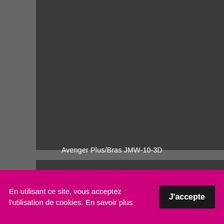[Figure (photo): Dark gray rectangular image placeholder at the top of the page]
[Figure (photo): Dark gray rectangular image placeholder in the lower portion of the page with caption 'Avenger Plus/Bras JMW-10-3D']
Avenger Plus/Bras JMW-10-3D
En utilisant ce site, vous acceptez l'utilisation de cookies. En savoir plus